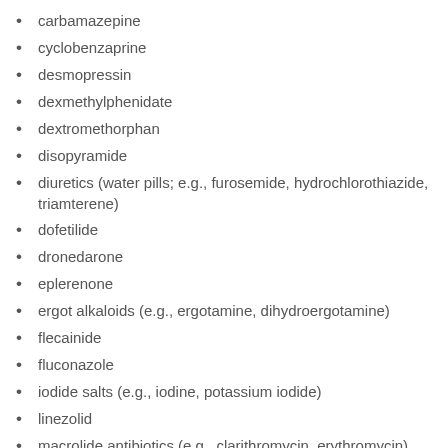carbamazepine
cyclobenzaprine
desmopressin
dexmethylphenidate
dextromethorphan
disopyramide
diuretics (water pills; e.g., furosemide, hydrochlorothiazide, triamterene)
dofetilide
dronedarone
eplerenone
ergot alkaloids (e.g., ergotamine, dihydroergotamine)
flecainide
fluconazole
iodide salts (e.g., iodine, potassium iodide)
linezolid
macrolide antibiotics (e.g., clarithromycin, erythromycin)